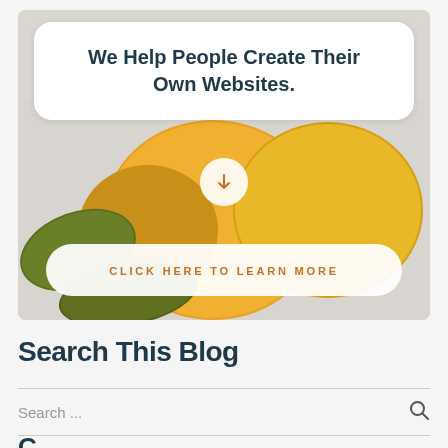[Figure (photo): Hero section with a white rounded card containing a bold headline, a circular arrow button, a background photo of yellow lemons with green leaves, and a 'Click Here To Learn More' CTA button in a white pill shape.]
We Help People Create Their Own Websites.
Search This Blog
Search ...